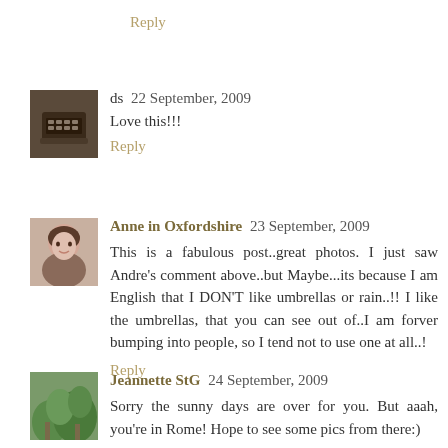Reply
[Figure (photo): Small avatar photo of ds, showing a typewriter]
ds 22 September, 2009
Love this!!!
Reply
[Figure (photo): Small avatar photo of Anne in Oxfordshire, showing a woman's face]
Anne in Oxfordshire 23 September, 2009
This is a fabulous post..great photos. I just saw Andre's comment above..but Maybe...its because I am English that I DON'T like umbrellas or rain..!! I like the umbrellas, that you can see out of..I am forver bumping into people, so I tend not to use one at all..!
Reply
[Figure (photo): Small avatar photo of Jeannette StG, showing greenery]
Jeannette StG 24 September, 2009
Sorry the sunny days are over for you. But aaah, you're in Rome! Hope to see some pics from there:)